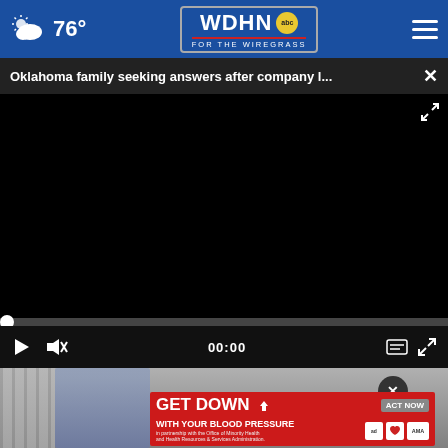WDHN ABC FOR THE WIREGRASS — 76°
Oklahoma family seeking answers after company l...
[Figure (screenshot): Black video player panel with progress bar showing 00:00, play button, mute button, and fullscreen button]
[Figure (photo): Person in a blue shirt standing outside near a building structure]
[Figure (infographic): Red advertisement banner reading GET DOWN WITH YOUR BLOOD PRESSURE with ACT NOW button, ad council logo, heart association logo, and AMA logo]